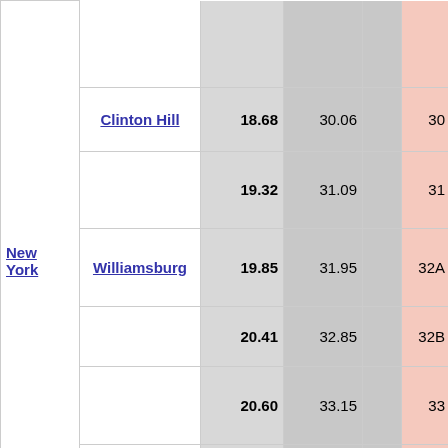| City | Neighborhood | mi | km |  | Stop | Name |
| --- | --- | --- | --- | --- | --- | --- |
| New York |  |  |  |  |  | Manhattan Bridge, Holland Tunnel |
|  | Clinton Hill | 18.68 | 30.06 |  | 30 | Flushing Avenue |
|  |  | 19.32 | 31.09 |  | 31 | Wythe Avenue / Broadway Avenue |
|  | Williamsburg | 19.85 | 31.95 |  | 32A | Williamsburg Bridge – Manhattan |
|  |  | 20.41 | 32.85 |  | 32B | Metropolitan Avenue |
|  |  | 20.60 | 33.15 |  | 33 | Humboldt Street / McGuinness Boulevard |
|  | Greenpoint | 21.80 | 35.08 |  | 34 | Meeker Avenue / Morgan Avenue |